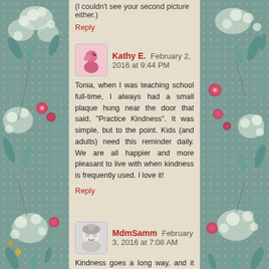(I couldn't see your second picture either.)
Reply
Kathy E.  February 2, 2016 at 9:44 PM
Tonia, when I was teaching school full-time, I always had a small plaque hung near the door that said, "Practice Kindness". It was simple, but to the point. Kids (and adults) need this reminder daily. We are all happier and more pleasant to live with when kindness is frequently used. I love it!
Reply
MdmSamm  February 3, 2016 at 7:08 AM
Kindness goes a long way, and it really is easy to practice...be kind to yourself first, the rest falls into place..your cubby spot looks inviting and easy to cover up x
Reply